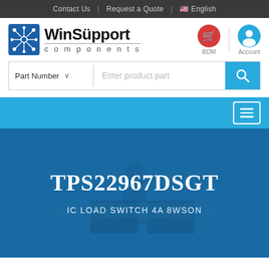Contact Us | Request a Quote | English
[Figure (logo): WinSupport components logo with circuit-board icon]
[Figure (infographic): Search bar with Part Number dropdown, Enter product part text field, and search button]
TPS22967DSGT
IC LOAD SWITCH 4A 8WSON